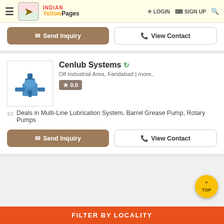Indian Yellow Pages — LOGIN   SIGN UP
[Figure (screenshot): Send Inquiry and View Contact buttons for a business listing (partial top card)]
Cenlub Systems
Dlf Industrial Area, Faridabad | more..
0.0
Deals in Multi-Line Lubrication System, Barrel Grease Pump, Rotary Pumps
[Figure (screenshot): Send Inquiry and View Contact buttons for Cenlub Systems listing]
FILTER BY LOCALITY